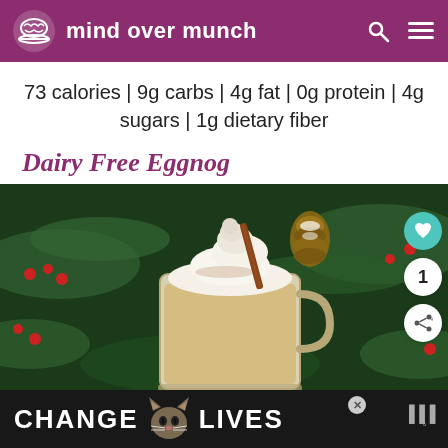mind over munch
73 calories | 9g carbs | 4g fat | 0g protein | 4g sugars | 1g dietary fiber
Dairy Free Eggnog
[Figure (photo): A glass mug of eggnog topped with whipped cream and a cinnamon stick, surrounded by festive Christmas decorations including red berries, pine branches, and a pinecone.]
[Figure (infographic): Advertisement banner reading CHANGE [cat image] LIVES with a close button and logo on the right.]